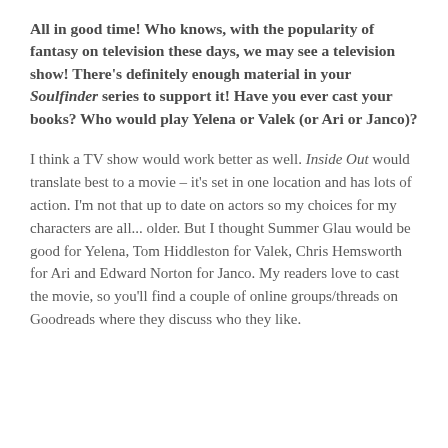All in good time! Who knows, with the popularity of fantasy on television these days, we may see a television show! There's definitely enough material in your Soulfinder series to support it! Have you ever cast your books? Who would play Yelena or Valek (or Ari or Janco)?
I think a TV show would work better as well. Inside Out would translate best to a movie – it's set in one location and has lots of action. I'm not that up to date on actors so my choices for my characters are all... older. But I thought Summer Glau would be good for Yelena, Tom Hiddleston for Valek, Chris Hemsworth for Ari and Edward Norton for Janco. My readers love to cast the movie, so you'll find a couple of online groups/threads on Goodreads where they discuss who they like.